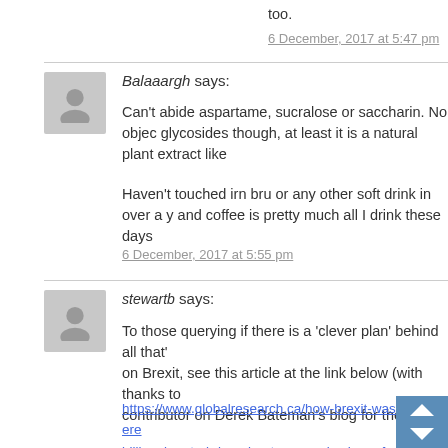too.
6 December, 2017 at 5:47 pm
Balaaargh says:
Can't abide aspartame, sucralose or saccharin. No objection to steviol glycosides though, at least it is a natural plant extract like
Haven't touched irn bru or any other soft drink in over a y... and coffee is pretty much all I drink these days
6 December, 2017 at 5:55 pm
stewartb says:
To those querying if there is a 'clever plan' behind all that's on Brexit, see this article at the link below (with thanks to contributor on Derek Bateman's blog for the link):
https://www.globalresearch.ca/how-brexit-was-engineere... billionaires-to-bring-about-economic-chaos-for-profit/5614...
Its scary stuff – and for even interested members of the p... readers') it is so hard to verify all details and claims.
However, as someone who dips into sources that...